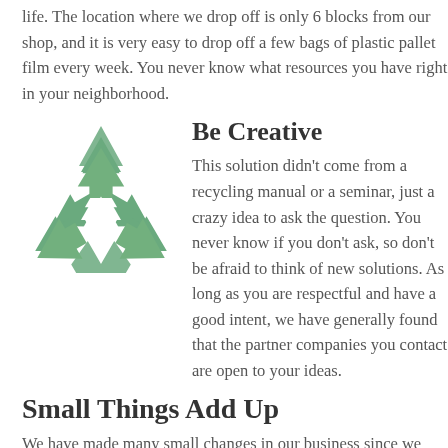life.  The location where we drop off is only 6 blocks from our shop, and it is very easy to drop off a few bags of plastic pallet film every week.  You never know what resources you have right in your neighborhood.
[Figure (illustration): Green recycling symbol with three chasing arrows forming a triangle]
Be Creative
This solution didn't come from a recycling manual or a seminar, just a crazy idea to ask the question.  You never know if you don't ask, so don't be afraid to think of new solutions.  As long as you are respectful and have a good intent, we have generally found that the partner companies you contact are open to your ideas.
Small Things Add Up
We have made many small changes in our business since we were first eco-certified by Clackamas County in 2008.  Not all of them have worked, but they all add up over time.  Here are a few of our successes over the past 10 years: